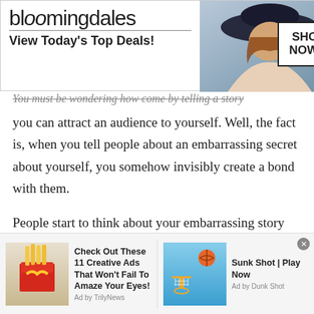[Figure (screenshot): Bloomingdales advertisement banner: 'bloomingdales / View Today's Top Deals!' with model in hat and 'SHOP NOW >' button]
You must be wondering how come by telling a story you can attract an audience to yourself. Well, the fact is, when you tell people about an embarrassing secret about yourself, you somehow invisibly create a bond with them.
People start to think about your embarrassing story and consider you as an emotionally strong person. Because you have been through so many ups and downs in your life. Further it gives people an image of you being honest with them. It creates a sense of
[Figure (screenshot): Two advertisement blocks at bottom: 1) McDonald's creative ads article 'Check Out These 11 Creative Ads That Won't Fail To Amaze Your Eyes!' by TrilyNews; 2) 'Sunk Shot | Play Now' game ad by Dunk Shot]